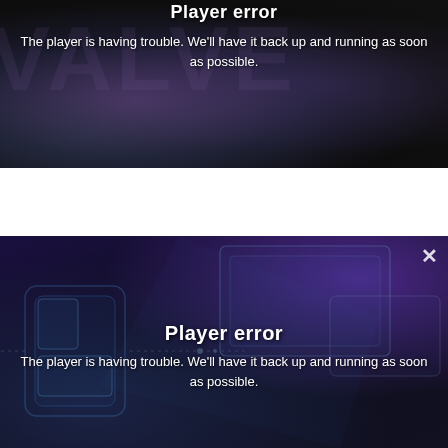[Figure (screenshot): Top player error screen with dark purple/black background showing 'Player error' title and error message text in white on a dark video player interface.]
Player error
The player is having trouble. We'll have it back up and running as soon as possible.
[Figure (screenshot): Bottom player error screen with dark blue/purple background showing a close X button in top right, 'Player error' title in bold white, and error message text centered below it. Background shows a tech/gaming aesthetic with schematic line art.]
Player error
The player is having trouble. We'll have it back up and running as soon as possible.